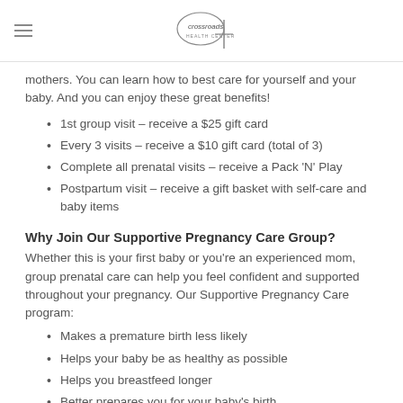Crossroads Health Center logo with hamburger menu
mothers. You can learn how to best care for yourself and your baby. And you can enjoy these great benefits!
1st group visit – receive a $25 gift card
Every 3 visits – receive a $10 gift card (total of 3)
Complete all prenatal visits – receive a Pack 'N' Play
Postpartum visit – receive a gift basket with self-care and baby items
Why Join Our Supportive Pregnancy Care Group?
Whether this is your first baby or you're an experienced mom, group prenatal care can help you feel confident and supported throughout your pregnancy. Our Supportive Pregnancy Care program:
Makes a premature birth less likely
Helps your baby be as healthy as possible
Helps you breastfeed longer
Better prepares you for your baby's birth